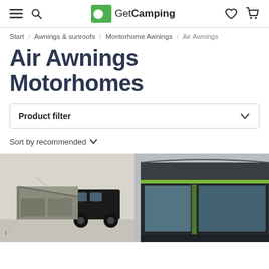GetCamping — navigation header with hamburger menu, search, logo, wishlist, and cart icons
Start / Awnings & sunroofs / Montorhome Awnings / Air Awnings
Air Awnings Motorhomes
Product filter
Sort by recommended
[Figure (photo): Photo of a grey inflatable motorhome drive-away awning attached to a black van, shot outdoors]
[Figure (photo): Photo of a dark grey/black inflatable motorhome awning with large windows and green trim detail, shown in close-up]